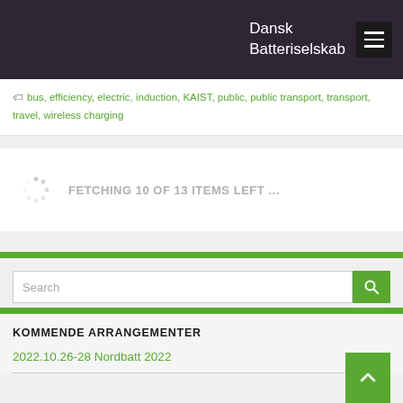Dansk Batteriselskab
bus, efficiency, electric, induction, KAIST, public, public transport, transport, travel, wireless charging
FETCHING 10 OF 13 ITEMS LEFT ...
Search
KOMMENDE ARRANGEMENTER
2022.10.26-28 Nordbatt 2022